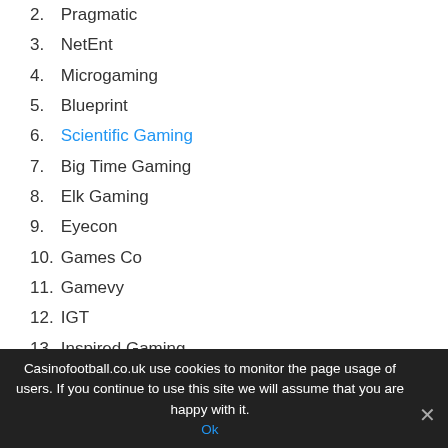2. Pragmatic
3. NetEnt
4. Microgaming
5. Blueprint
6. Scientific Gaming
7. Big Time Gaming
8. Elk Gaming
9. Eyecon
10. Games Co
11. Gamevy
12. IGT
13. Inspired Gaming
14. Iron Dog
15. IWG
16. Lighting Box
17. Merkur
Casinofootball.co.uk use cookies to monitor the page usage of users. If you continue to use this site we will assume that you are happy with it. Ok